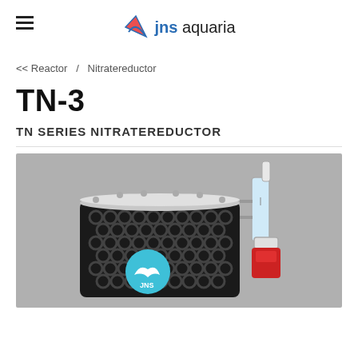jns aquaria
<< Reactor  /  Nitratereductor
TN-3
TN SERIES NITRATEREDUCTOR
[Figure (photo): Product photo of the JNS TN-3 nitrate reactor, showing a cylindrical reactor body filled with black bio-media, topped with a circular lid with fittings, and equipped with a bubble counter and valve assembly on the side. The JNS shark logo is visible on the front of the unit against a grey background.]